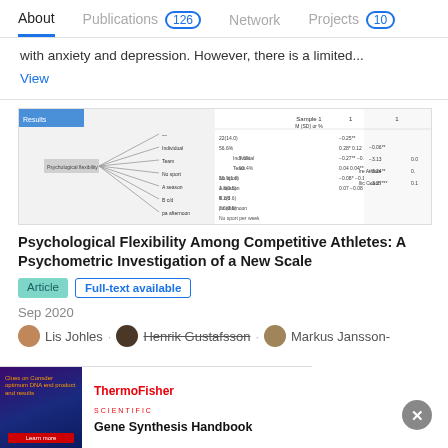About  Publications 126  Network  Projects 10
with anxiety and depression. However, there is a limited...
View
[Figure (table-as-image): Thumbnail image of a research table/figure showing path analysis diagrams and correlation matrices for a study on psychological flexibility among competitive athletes.]
Psychological Flexibility Among Competitive Athletes: A Psychometric Investigation of a New Scale
Article  Full-text available
Sep 2020
Lis Johles · Henrik Gustafsson · Markus Jansson-
[Figure (other): ThermoFisher Scientific advertisement banner with Gene Synthesis Handbook promotional image.]
Gene Synthesis Handbook